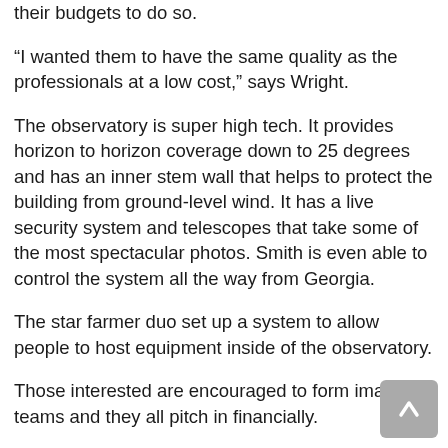their budgets to do so.
“I wanted them to have the same quality as the professionals at a low cost,” says Wright.
The observatory is super high tech. It provides horizon to horizon coverage down to 25 degrees and has an inner stem wall that helps to protect the building from ground-level wind. It has a live security system and telescopes that take some of the most spectacular photos. Smith is even able to control the system all the way from Georgia.
The star farmer duo set up a system to allow people to host equipment inside of the observatory.
Those interested are encouraged to form imaging teams and they all pitch in financially.